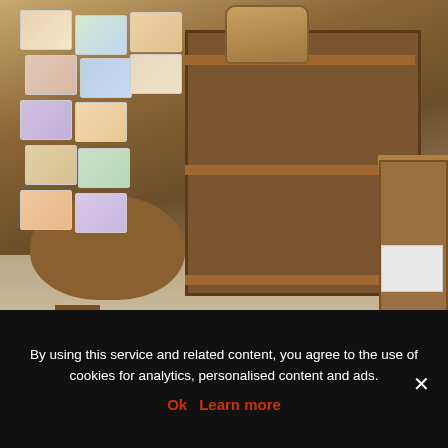[Figure (photo): Interior of a craft/gift shop showing a rotating card display rack with colorful art cards, a round wooden table with spiral-bound notebooks stacked on it, a wooden shelf unit containing a woven basket on top, ceramic bowls, vases, and figurines (including elephant figurines) on the shelves, dark ceramic vases on the lower shelf, and a wooden bench on the right side with a white storage box.]
By using this service and related content, you agree to the use of cookies for analytics, personalised content and ads.
Ok   Learn more